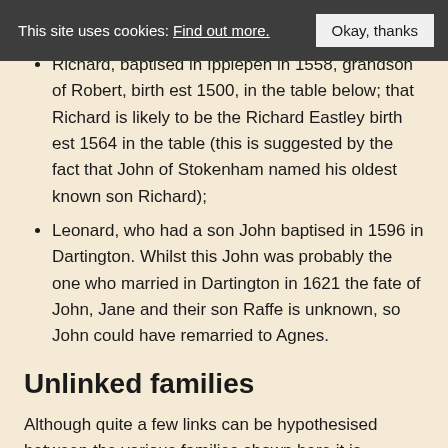This site uses cookies: Find out more. Okay, thanks
Richard, baptised in Ipplepen in 1558, grandson of Robert, birth est 1500, in the table below; that Richard is likely to be the Richard Eastley birth est 1564 in the table (this is suggested by the fact that John of Stokenham named his oldest known son Richard);
Leonard, who had a son John baptised in 1596 in Dartington. Whilst this John was probably the one who married in Dartington in 1621 the fate of John, Jane and their son Raffe is unknown, so John could have remarried to Agnes.
Unlinked families
Although quite a few links can be hypothesised between the various families shown here it is important to remember that there are many gaps in the Parish Register coverage of this area, with no BTs before the early C17th (and then many years, often significant spans of years, missing) and very few wills, except the HANS bequest. Where there...